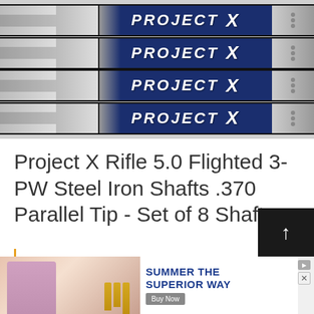[Figure (photo): Four Project X golf iron shafts arranged in parallel rows, each showing the blue and white 'PROJECT X' branding label on the shaft body against a light grey background.]
Project X Rifle 5.0 Flighted 3-PW Steel Iron Shafts .370 Parallel Tip - Set of 8 Shafts
[Figure (other): Orange vertical rating bar indicator on the left side.]
[Figure (other): Orange 'Check On Amazon' button.]
[Figure (other): Dark scroll-to-top button with upward arrow in bottom right corner.]
[Figure (advertisement): Banner advertisement with image of person and bottles on left and text 'SUMMER THE SUPERIOR WAY' with 'Buy Now' button on the right side.]